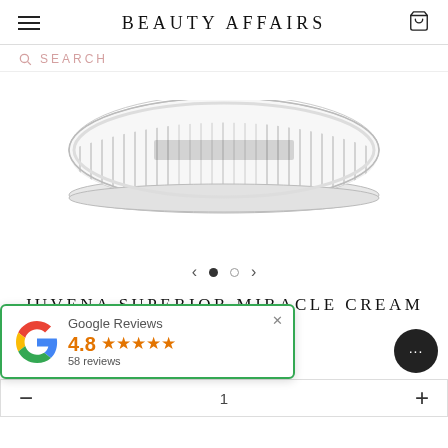BEAUTY AFFAIRS
SEARCH
[Figure (photo): A circular ribbed glass/crystal cosmetic cream jar lid viewed from a slight angle, showing reflective vertical ridges around the rim, on a white background.]
JUVENA SUPERIOR MIRACLE CREAM 75ML
Google Reviews 4.8 ★★★★★ 58 reviews